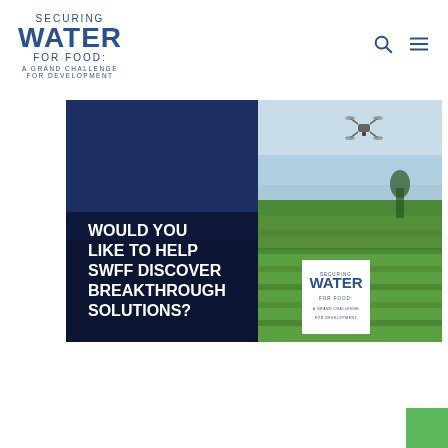SECURING WATER FOR FOOD: A GRAND CHALLENGE FOR DEVELOPMENT
[Figure (photo): Promotional banner image split into two halves: left dark navy blue panel with bold white text reading 'WOULD YOU LIKE TO HELP SWFF DISCOVER BREAKTHROUGH SOLUTIONS?' and a small SWFF logo box; right panel showing a drone flying over a green agricultural field under a light blue sky.]